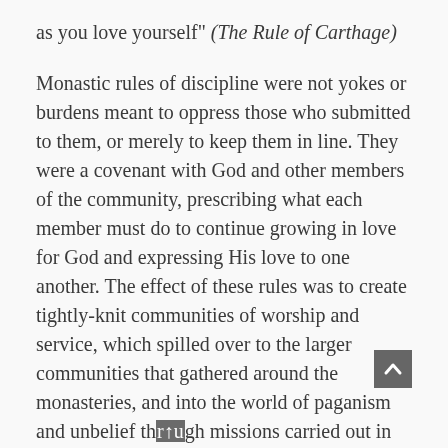as you love yourself" (The Rule of Carthage)
Monastic rules of discipline were not yokes or burdens meant to oppress those who submitted to them, or merely to keep them in line. They were a covenant with God and other members of the community, prescribing what each member must do to continue growing in love for God and expressing His love to one another. The effect of these rules was to create tightly-knit communities of worship and service, which spilled over to the larger communities that gathered around the monasteries, and into the world of paganism and unbelief through missions carried out in love.